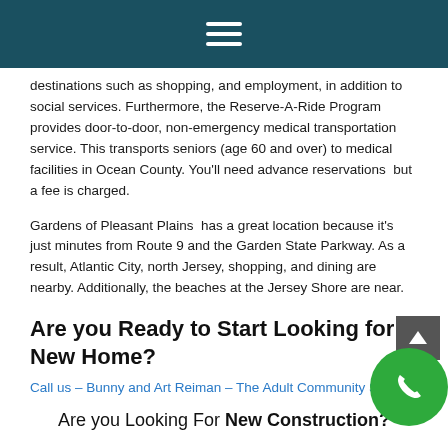≡ (hamburger menu icon)
destinations such as shopping, and employment, in addition to social services. Furthermore, the Reserve-A-Ride Program provides door-to-door, non-emergency medical transportation service. This transports seniors (age 60 and over) to medical facilities in Ocean County. You'll need advance reservations  but a fee is charged.
Gardens of Pleasant Plains  has a great location because it's just minutes from Route 9 and the Garden State Parkway. As a result, Atlantic City, north Jersey, shopping, and dining are nearby. Additionally, the beaches at the Jersey Shore are near.
Are you Ready to Start Looking for a New Home?
Call us – Bunny and Art Reiman – The Adult Community Spec…
Are you Looking For New Construction?